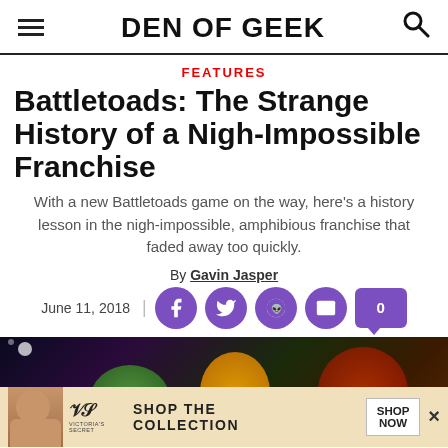DEN OF GEEK
FEATURES
Battletoads: The Strange History of a Nigh-Impossible Franchise
With a new Battletoads game on the way, here's a history lesson in the nigh-impossible, amphibious franchise that faded away too quickly.
By Gavin Jasper
June 11, 2018
[Figure (screenshot): Colorful video game artwork showing Battletoads characters with green and orange toad characters on a dark background, partially visible at bottom of page. An advertisement bar for Victoria's Secret is overlaid at the bottom.]